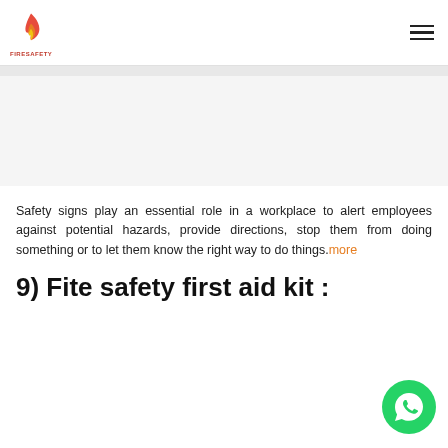Fire Safety logo and navigation menu
[Figure (photo): Blank/white image area placeholder]
Safety signs play an essential role in a workplace to alert employees against potential hazards, provide directions, stop them from doing something or to let them know the right way to do things. more
9) Fite safety first aid kit :